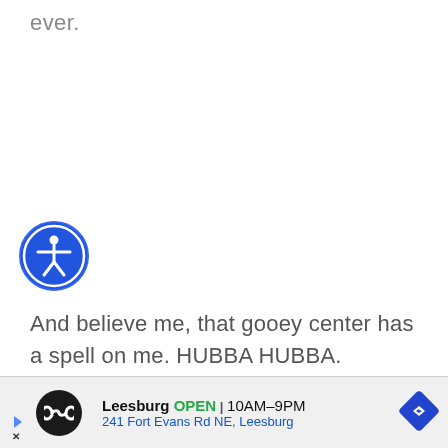ever.
[Figure (logo): Accessibility icon: blue circle with white person figure with arms outstretched]
And believe me, that gooey center has a spell on me. HUBBA HUBBA.
[Figure (infographic): Advertisement banner: Leesburg OPEN 10AM-9PM, 241 Fort Evans Rd NE, Leesburg with navigation arrow icon]